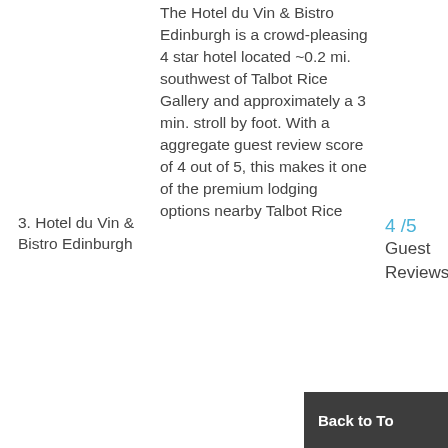The Hotel du Vin & Bistro Edinburgh is a crowd-pleasing 4 star hotel located ~0.2 mi. southwest of Talbot Rice Gallery and approximately a 3 min. stroll by foot. With a aggregate guest review score of 4 out of 5, this makes it one of the premium lodging options nearby Talbot Rice
3. Hotel du Vin & Bistro Edinburgh
4 /5 Guest Reviews